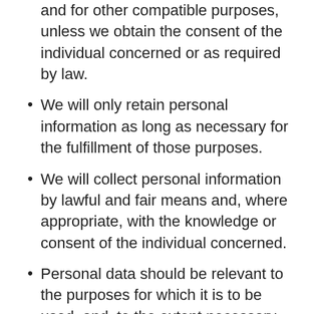and for other compatible purposes, unless we obtain the consent of the individual concerned or as required by law.
We will only retain personal information as long as necessary for the fulfillment of those purposes.
We will collect personal information by lawful and fair means and, where appropriate, with the knowledge or consent of the individual concerned.
Personal data should be relevant to the purposes for which it is to be used, and, to the extent necessary for those purposes, should be accurate, complete, and up-to-date.
We will protect personal information by reasonable security safeguards against loss or theft, as well as unauthorized access, disclosure, copying, use or modification.
We will make readily available to customers information about our policies